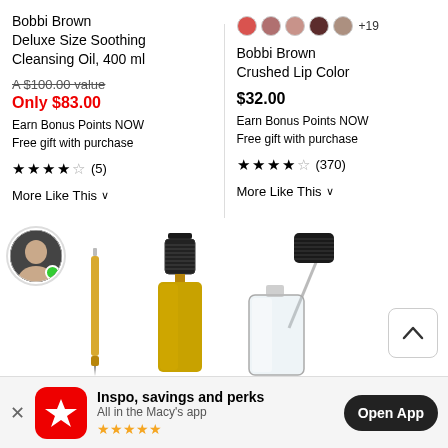Bobbi Brown
Deluxe Size Soothing Cleansing Oil, 400 ml
A $100.00 value
Only $83.00
Earn Bonus Points NOW
Free gift with purchase
★★★★☆ (5)
More Like This ∨
[Figure (infographic): Color swatches: red, mauve, light pink, dark burgundy, taupe, +19 more]
Bobbi Brown
Crushed Lip Color
$32.00
Earn Bonus Points NOW
Free gift with purchase
★★★★☆ (370)
More Like This ∨
[Figure (photo): Left product: gold amber dropper bottle with black cap; golden pen tool; person avatar with green online dot. Right product: clear glass dropper bottle with black cap.]
Inspo, savings and perks
All in the Macy's app
★★★★★